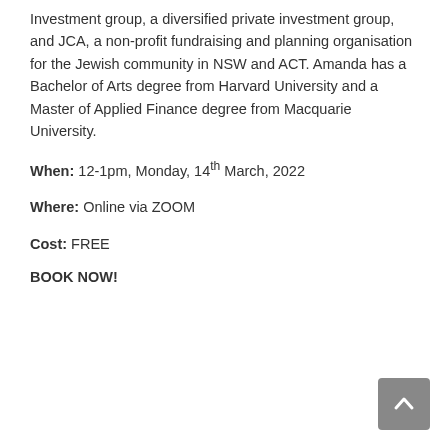Investment group, a diversified private investment group, and JCA, a non-profit fundraising and planning organisation for the Jewish community in NSW and ACT. Amanda has a Bachelor of Arts degree from Harvard University and a Master of Applied Finance degree from Macquarie University.
When: 12-1pm, Monday, 14th March, 2022
Where: Online via ZOOM
Cost: FREE
BOOK NOW!